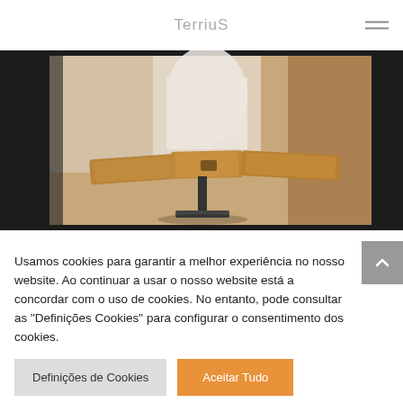TerriuS
[Figure (photo): Close-up photo of a cork or wooden tool/object on a black metal stand, with blurred background showing white containers and warm-toned surfaces.]
Usamos cookies para garantir a melhor experiência no nosso website. Ao continuar a usar o nosso website está a concordar com o uso de cookies. No entanto, pode consultar as "Definições Cookies" para configurar o consentimento dos cookies.